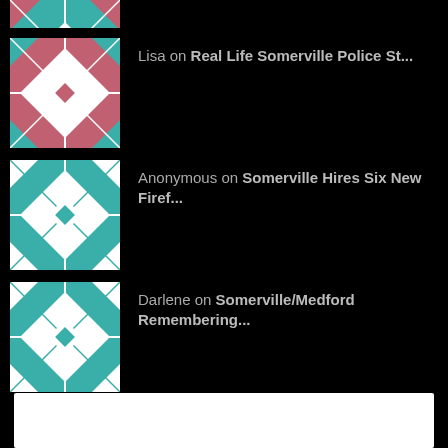[Figure (illustration): Partially cropped avatar icon (quilt-pattern, teal and white) at top of page]
Lisa on Real Life Somerville Police St...
Anonymous on Somerville Hires Six New Firef...
Darlene on Somerville/Medford Remembering...
Firearm Recovered Fr... on Firearm Recovered From Somervi...
cmd368login on PROHIBIT CREDIT CARD USE FOR S...
VOTED BEST IN SOMERVILLE!
[Figure (other): White rectangle box at bottom of page]